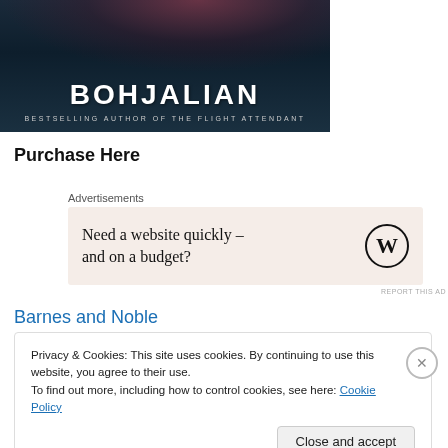[Figure (illustration): Book cover showing author name BOHJALIAN in large white serif letters, with tagline 'BESTSELLING AUTHOR OF THE FLIGHT ATTENDANT' below, against a dark teal/navy background with flower imagery at top]
Purchase Here
Advertisements
[Figure (other): WordPress advertisement banner with beige background reading 'Need a website quickly – and on a budget?' with WordPress logo on right]
REPORT THIS AD
Barnes and Noble
Privacy & Cookies: This site uses cookies. By continuing to use this website, you agree to their use.
To find out more, including how to control cookies, see here: Cookie Policy